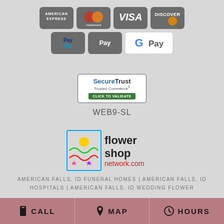[Figure (logo): Payment method icons: American Express, Mastercard, Visa, Discover, PayPal, Apple Pay, Google Pay]
[Figure (logo): SecureTrust Trusted Commerce - Click To Validate badge]
WEB9-SL
[Figure (logo): Flower Shop Network .com logo]
AMERICAN FALLS, ID FUNERAL HOMES | AMERICAN FALLS, ID HOSPITALS | AMERICAN FALLS, ID WEDDING FLOWER
CALL  MAP  HOURS